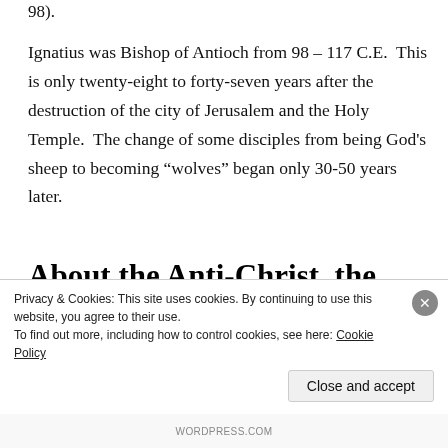98).
Ignatius was Bishop of Antioch from 98 – 117 C.E.  This is only twenty-eight to forty-seven years after the destruction of the city of Jerusalem and the Holy Temple.  The change of some disciples from being God's sheep to becoming “wolves” began only 30-50 years later.
About the Anti-Christ, the Tribulation & the Second Coming
Privacy & Cookies: This site uses cookies. By continuing to use this website, you agree to their use.
To find out more, including how to control cookies, see here: Cookie Policy
Close and accept